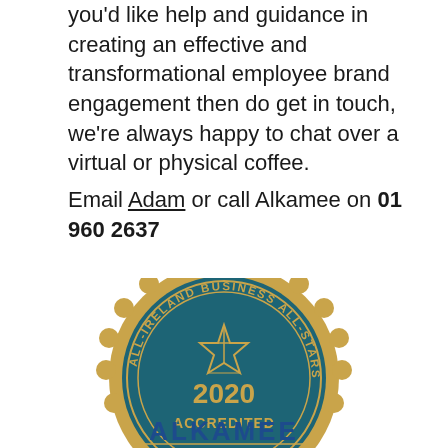you'd like help and guidance in creating an effective and transformational employee brand engagement then do get in touch, we're always happy to chat over a virtual or physical coffee.
Email Adam or call Alkamee on 01 960 2637
[Figure (logo): All-Ireland Business All-Stars 2020 Accredited badge/seal with teal and gold colors, showing star emblem, text 'ALL-IRELAND BUSINESS ALL-STARS' around the ring, '2020 ACCREDITED' in center, and 'ALKAMEE' below]